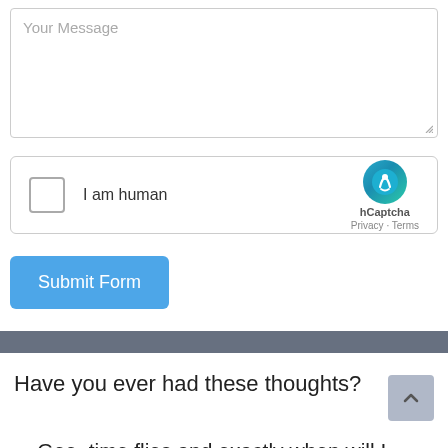[Figure (screenshot): A textarea input field with placeholder text 'Your Message' and a resize handle in the bottom-right corner]
[Figure (screenshot): hCaptcha widget with checkbox labeled 'I am human', hCaptcha logo, and Privacy/Terms links]
[Figure (screenshot): Blue 'Submit Form' button]
[Figure (screenshot): Dark gray horizontal divider bar]
Have you ever had these thoughts?
... Gee, time flies and exactly when will I